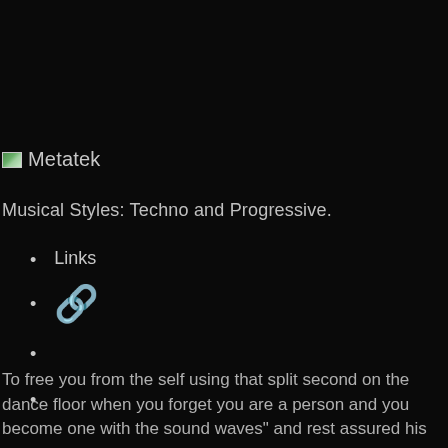[Figure (logo): Broken image icon placeholder followed by the text 'Metatek']
Musical Styles: Techno and Progressive.
Links
🔗 (chain link emoji icon in orange/yellow)
To free you from the self using that split second on the dance floor when you forget you are a person and you become one with the sound waves" and rest assured his